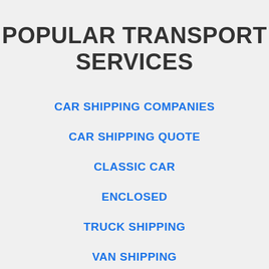POPULAR TRANSPORT SERVICES
CAR SHIPPING COMPANIES
CAR SHIPPING QUOTE
CLASSIC CAR
ENCLOSED
TRUCK SHIPPING
VAN SHIPPING